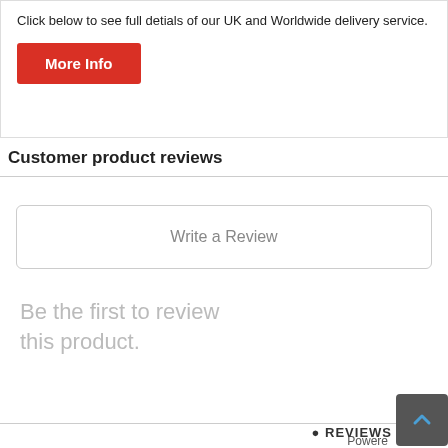Click below to see full detials of our UK and Worldwide delivery service.
More Info
Customer product reviews
Write a Review
Be the first to review this product.
Powere
REVIEWS